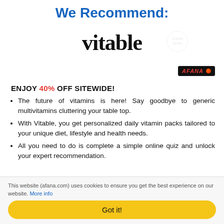We Recommend:
[Figure (logo): Vitable logo in large serif bold font, with a faint circular watermark stamp overlay in the top right area]
[Figure (logo): Afana badge: small dark background rectangle with red italic AFANA text and orange/red circular icon]
ENJOY 40% OFF SITEWIDE!
The future of vitamins is here! Say goodbye to generic multivitamins cluttering your table top.
With Vitable, you get personalized daily vitamin packs tailored to your unique diet, lifestyle and health needs.
All you need to do is complete a simple online quiz and unlock your expert recommendation.
This website (afana.com) uses cookies to ensure you get the best experience on our website. More info
Got it!